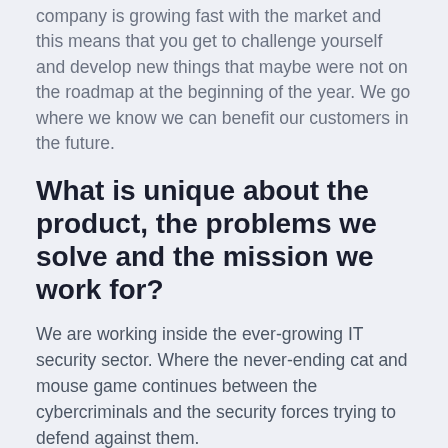company is growing fast with the market and this means that you get to challenge yourself and develop new things that maybe were not on the roadmap at the beginning of the year. We go where we know we can benefit our customers in the future.
What is unique about the product, the problems we solve and the mission we work for?
We are working inside the ever-growing IT security sector. Where the never-ending cat and mouse game continues between the cybercriminals and the security forces trying to defend against them.
As the technical race goes on, the best way to